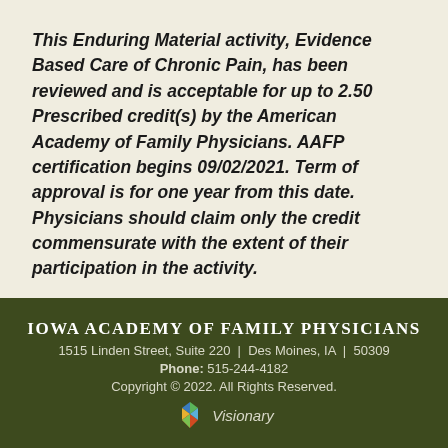This Enduring Material activity, Evidence Based Care of Chronic Pain, has been reviewed and is acceptable for up to 2.50 Prescribed credit(s) by the American Academy of Family Physicians. AAFP certification begins 09/02/2021. Term of approval is for one year from this date. Physicians should claim only the credit commensurate with the extent of their participation in the activity.
IOWA ACADEMY OF FAMILY PHYSICIANS
1515 Linden Street, Suite 220 | Des Moines, IA | 50309
Phone: 515-244-4182
Copyright © 2022. All Rights Reserved.
Visionary